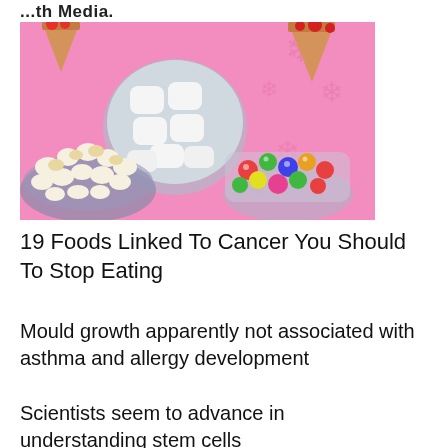...th Media.
[Figure (photo): Top-down photo of candy/snacks on a pink background: ice cream cones, a glass bowl of marshmallows, a bowl of popcorn, and a jar of colorful candies/M&Ms.]
19 Foods Linked To Cancer You Should To Stop Eating
Mould growth apparently not associated with asthma and allergy development
Scientists seem to advance in understanding stem cells